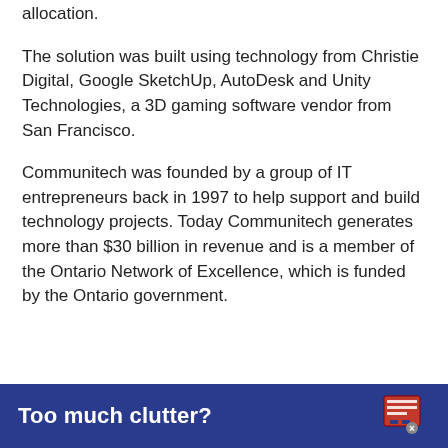allocation.
The solution was built using technology from Christie Digital, Google SketchUp, AutoDesk and Unity Technologies, a 3D gaming software vendor from San Francisco.
Communitech was founded by a group of IT entrepreneurs back in 1997 to help support and build technology projects. Today Communitech generates more than $30 billion in revenue and is a member of the Ontario Network of Excellence, which is funded by the Ontario government.
Too much clutter?